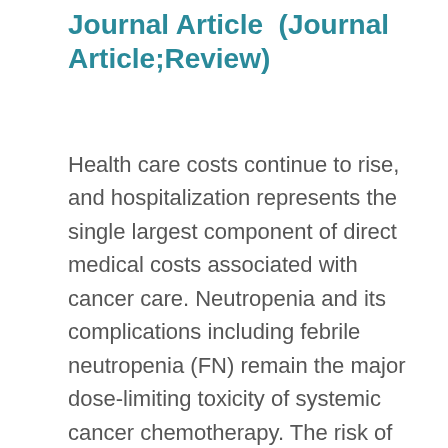Journal Article  (Journal Article;Review)
Health care costs continue to rise, and hospitalization represents the single largest component of direct medical costs associated with cancer care. Neutropenia and its complications including febrile neutropenia (FN) remain the major dose-limiting toxicity of systemic cancer chemotherapy. The risk of FN varies considerably across treatment regimens but appears to be significantly higher among elderly patients. The colony-stimulating factors (CSFs) have been used effectively in a variety of clinical settings to prevent or treat FN and to assist patients receiving dose-intensive chemotherapy with or without stem cell support. Several